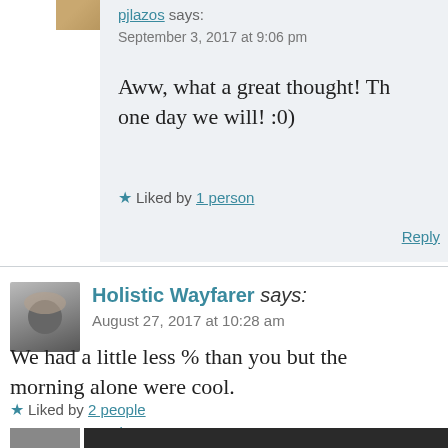[Figure (photo): Small avatar thumbnail, partially visible at top left]
pjlazos says:
September 3, 2017 at 9:06 pm
Aww, what a great thought! Th... one day we will! :0)
Liked by 1 person
Reply
[Figure (photo): Avatar of Holistic Wayfarer - person wearing sunglasses]
Holistic Wayfarer says:
August 27, 2017 at 10:28 am
We had a little less % than you but the morning alone were cool.
Liked by 2 people
Reply